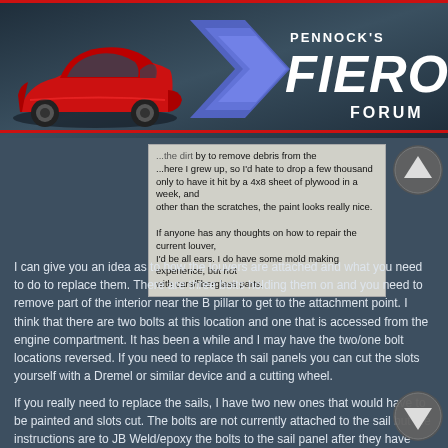[Figure (logo): Pennock's Fiero Forum header logo with red Pontiac Fiero car illustration on the left and the forum name on the right with blue chevron design]
...the dirt by to remove debris from the ...where I grew up, so I'd hate to drop a few thousand only to have it hit by a 4x8 sheet of plywood in a week, and other than the scratches, the paint looks really nice.

If anyone has any thoughts on how to repair the current louver, I'd be all ears. I do have some mold making experience, but not with cars/fiberglass parts.
I can give you an idea as to how the louvers are attached and what you need to do to replace them. There are three bolts holding them on and you need to remove part of the interior near the B pillar to get to the attachment point. I think that there are two bolts at this location and one that is accessed from the engine compartment. It has been a while and I may have the two/one bolt locations reversed. If you need to replace th sail panels you can cut the slots yourself with a Dremel or similar device and a cutting wheel.
If you really need to replace the sails, I have two new ones that would have to be painted and slots cut. The bolts are not currently attached to the sail but the instructions are to JB Weld/epoxy the bolts to the sail panel after they have been fit to the specific vehicle to make certain that the bolts are correctly aligned.